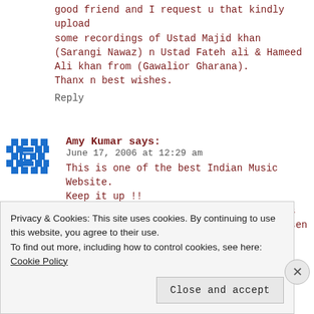good friend and I request u that kindly upload some recordings of Ustad Majid khan (Sarangi Nawaz) n Ustad Fateh ali & Hameed Ali khan from (Gawalior Gharana). Thanx n best wishes.
Reply
[Figure (illustration): Blue pixel/mosaic avatar icon with square pattern]
Amy Kumar says: June 17, 2006 at 12:29 am This is one of the best Indian Music Website. Keep it up !! I want some more recordings of Pt Ulhas Kashalkar , Ust Vilayat Khan & Pt Bhimsen
Privacy & Cookies: This site uses cookies. By continuing to use this website, you agree to their use. To find out more, including how to control cookies, see here: Cookie Policy
Close and accept